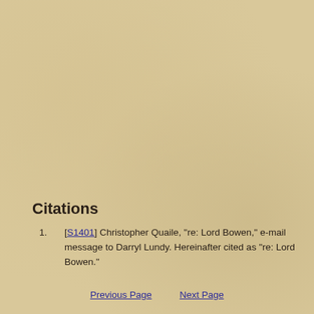Citations
[S1401] Christopher Quaile, "re: Lord Bowen," e-mail message to Darryl Lundy. Hereinafter cited as "re: Lord Bowen."
Previous Page    Next Page